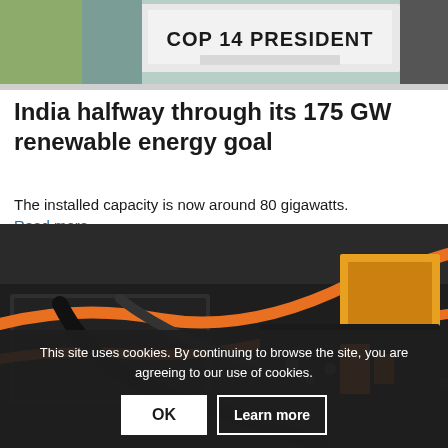[Figure (photo): Photo of a person sitting behind a podium sign reading 'COP 14 PRESIDENT']
India halfway through its 175 GW renewable energy goal
The installed capacity is now around 80 gigawatts.
Read more >
[Figure (photo): Close-up photo of electric vehicle battery components with orange high-voltage cables and black battery modules]
This site uses cookies. By continuing to browse the site, you are agreeing to our use of cookies.
OK
Learn more